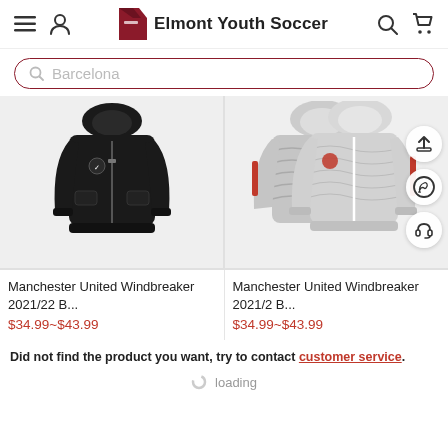Elmont Youth Soccer
Barcelona (search query)
[Figure (photo): Manchester United Windbreaker 2021/22 black hooded jacket product photo]
Manchester United Windbreaker 2021/22 B...
$34.99~$43.99
[Figure (photo): Manchester United Windbreaker 2021/22 grey/white patterned hooded jacket product photo, two jackets shown]
Manchester United Windbreaker 2021/2 B...
$34.99~$43.99
Did not find the product you want, try to contact customer service.
loading